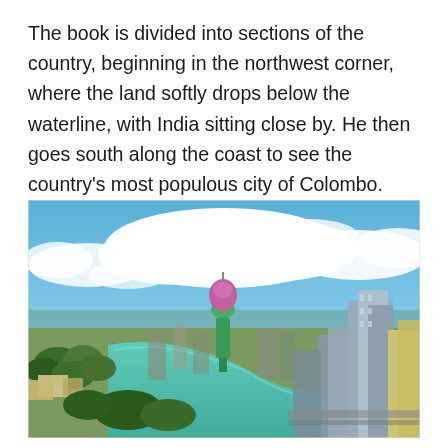The book is divided into sections of the country, beginning in the northwest corner, where the land softly drops below the waterline, with India sitting close by. He then goes south along the coast to see the country's most populous city of Colombo.
[Figure (photo): Aerial panoramic view of Colombo, Sri Lanka, showing the Lotus Tower (a tall communications tower with a pink lotus-shaped top), a large turquoise lake/lagoon winding through the city, dense urban development with high-rise buildings on the right side, trees and lower buildings on the left, and a dramatic blue sky with large white cumulus clouds above.]